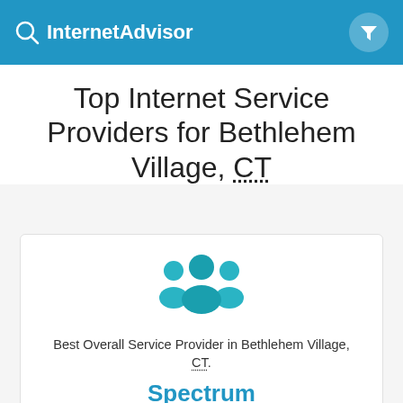InternetAdvisor
Top Internet Service Providers for Bethlehem Village, CT
Best Overall Service Provider in Bethlehem Village, CT.
Spectrum
Very Good